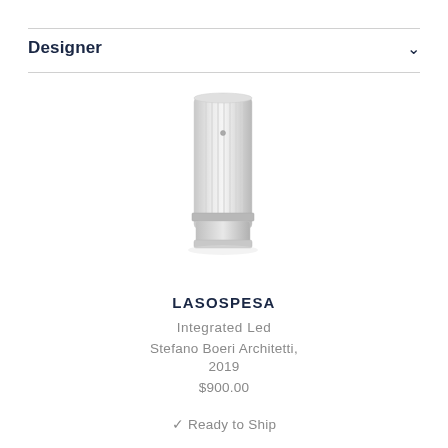Designer
[Figure (photo): A white cylindrical LED lamp product photo with ribbed body and a metal band, shown on white background]
LASOSPESA
Integrated Led
Stefano Boeri Architetti, 2019
$900.00
✓ Ready to Ship